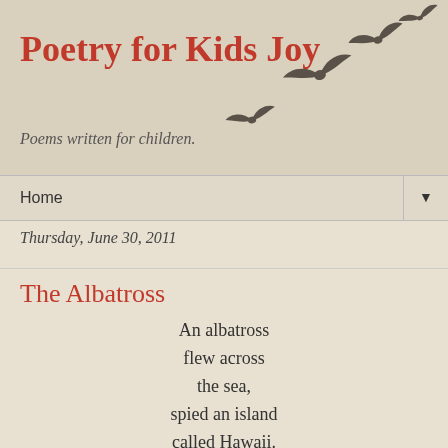Poetry for Kids Joy
Poems written for children.
[Figure (illustration): Silhouettes of birds flying in a diagonal arc from lower left to upper right, rendered in dark grey on a beige background.]
Home
Thursday, June 30, 2011
The Albatross
An albatross
flew across
the sea,
spied an island
called Hawaii.

He built
a nest
on a golf course,